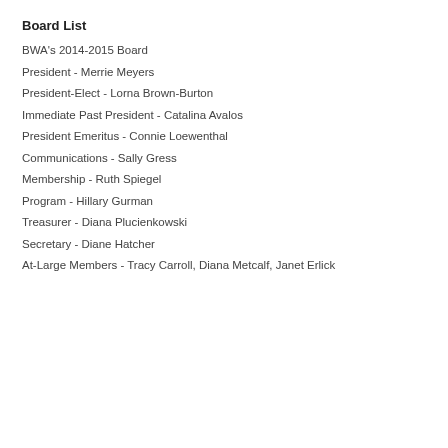Board List
BWA's 2014-2015 Board
President - Merrie Meyers
President-Elect - Lorna Brown-Burton
Immediate Past President - Catalina Avalos
President Emeritus - Connie Loewenthal
Communications - Sally Gress
Membership - Ruth Spiegel
Program - Hillary Gurman
Treasurer - Diana Plucienkowski
Secretary - Diane Hatcher
At-Large Members - Tracy Carroll, Diana Metcalf, Janet Erlick